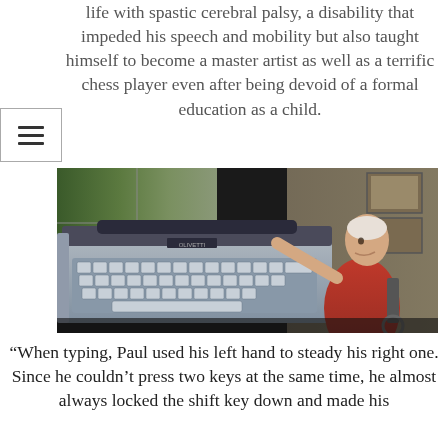life with spastic cerebral palsy, a disability that impeded his speech and mobility but also taught himself to become a master artist as well as a terrific chess player even after being devoid of a formal education as a child.
[Figure (photo): An elderly man in a red shirt seated at a large electric typewriter near a bright window, looking upward. He appears to be in a home office or study with papers and items visible in the background.]
“When typing, Paul used his left hand to steady his right one. Since he couldn’t press two keys at the same time, he almost always locked the shift key down and made his